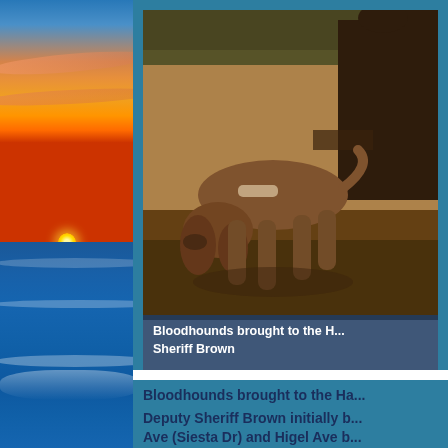[Figure (photo): Decorative left-column photo of a sunset over the ocean with colorful sky and waves]
[Figure (photo): Sepia-toned historical photograph of a bloodhound dog with a handler, used in a criminal investigation case involving Sheriff Brown]
Bloodhounds brought to the H... Sheriff Brown
Bloodhounds brought to the Ha...
Deputy Sheriff Brown initially ... Ave (Siesta Dr) and Higel Ave b... had waded into the salt wate...